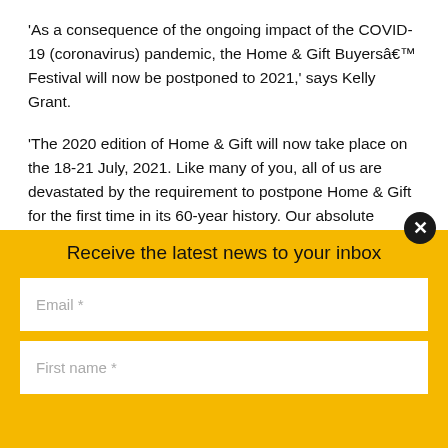'As a consequence of the ongoing impact of the COVID-19 (coronavirus) pandemic, the Home & Gift Buyersâ€™ Festival will now be postponed to 2021,' says Kelly Grant.
'The 2020 edition of Home & Gift will now take place on the 18-21 July, 2021. Like many of you, all of us are devastated by the requirement to postpone Home & Gift for the first time in its 60-year history. Our absolute priority is to safeguard the health and welfare of all those involved in our events and,
Receive the latest news to your inbox
Email *
First name *